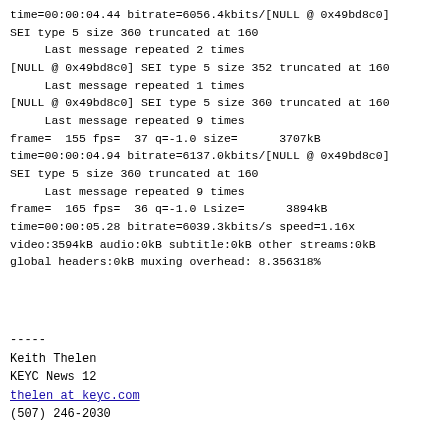time=00:00:04.44 bitrate=6056.4kbits/[NULL @ 0x49bd8c0]
SEI type 5 size 360 truncated at 160
     Last message repeated 2 times
[NULL @ 0x49bd8c0] SEI type 5 size 352 truncated at 160
     Last message repeated 1 times
[NULL @ 0x49bd8c0] SEI type 5 size 360 truncated at 160
     Last message repeated 9 times
frame=  155 fps=  37 q=-1.0 size=      3707kB
time=00:00:04.94 bitrate=6137.0kbits/[NULL @ 0x49bd8c0]
SEI type 5 size 360 truncated at 160
     Last message repeated 9 times
frame=  165 fps=  36 q=-1.0 Lsize=      3894kB
time=00:00:05.28 bitrate=6039.3kbits/s speed=1.16x
video:3594kB audio:0kB subtitle:0kB other streams:0kB
global headers:0kB muxing overhead: 8.356318%
-----
Keith Thelen
KEYC News 12
thelen at keyc.com
(507) 246-2030
Previous message (by thread): [FFmpeg-user] mpegts mux discard all pcr when use -codec copy